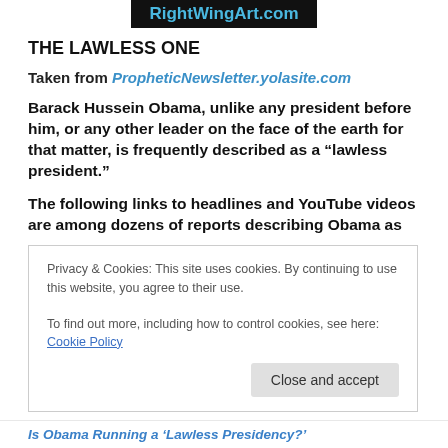RightWingArt.com
THE LAWLESS ONE
Taken from PropheticNewsletter.yolasite.com
Barack Hussein Obama, unlike any president before him, or any other leader on the face of the earth for that matter, is frequently described as a “lawless president.”
The following links to headlines and YouTube videos are among dozens of reports describing Obama as
Privacy & Cookies: This site uses cookies. By continuing to use this website, you agree to their use.
To find out more, including how to control cookies, see here: Cookie Policy
Close and accept
Is Obama Running a ‘Lawless Presidency?’